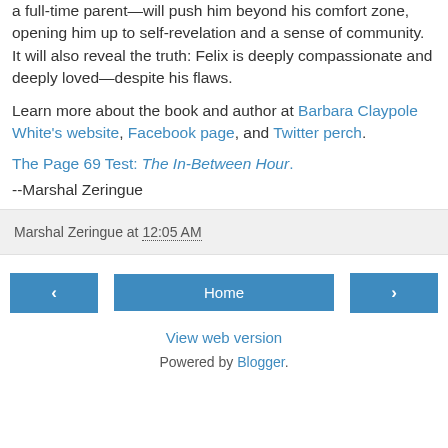a full-time parent—will push him beyond his comfort zone, opening him up to self-revelation and a sense of community. It will also reveal the truth: Felix is deeply compassionate and deeply loved—despite his flaws.
Learn more about the book and author at Barbara Claypole White's website, Facebook page, and Twitter perch.
The Page 69 Test: The In-Between Hour.
--Marshal Zeringue
Marshal Zeringue at 12:05 AM
Home
View web version
Powered by Blogger.